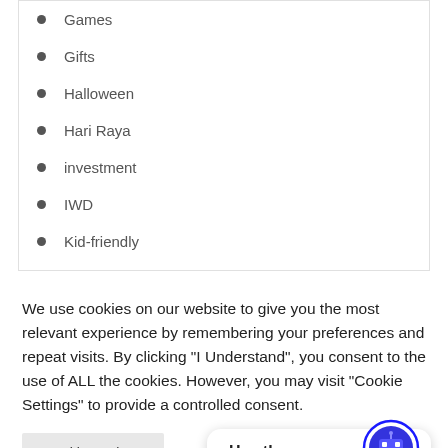Games
Gifts
Halloween
Hari Raya
investment
IWD
Kid-friendly
We use cookies on our website to give you the most relevant experience by remembering your preferences and repeat visits. By clicking “I Understand”, you consent to the use of ALL the cookies. However, you may visit "Cookie Settings" to provide a controlled consent.
Cookie Settings
Hey there, Come chat with me!